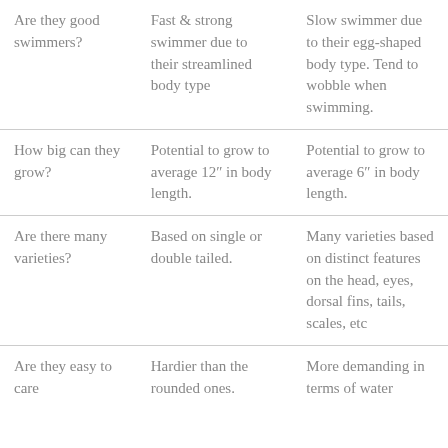| Are they good swimmers? | Fast & strong swimmer due to their streamlined body type | Slow swimmer due to their egg-shaped body type. Tend to wobble when swimming. |
| How big can they grow? | Potential to grow to average 12″ in body length. | Potential to grow to average 6″ in body length. |
| Are there many varieties? | Based on single or double tailed. | Many varieties based on distinct features on the head, eyes, dorsal fins, tails, scales, etc |
| Are they easy to care | Hardier than the rounded ones. | More demanding in terms of water |